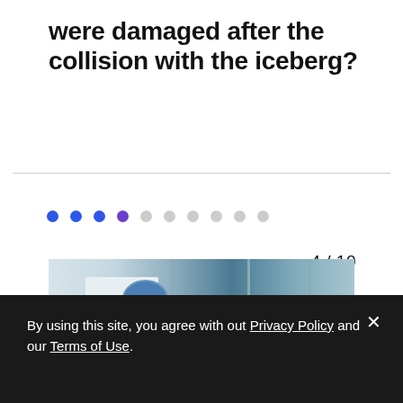were damaged after the collision with the iceberg?
[Figure (other): A horizontal row of 10 navigation dots; the first three are filled blue, the fourth is filled purple (active), and the remaining six are light grey (inactive).]
4 / 10
[Figure (photo): A photograph showing a person in white clothing standing next to a blue circular porthole on what appears to be a ship corridor with multiple white panel sections.]
By using this site, you agree with out Privacy Policy and our Terms of Use.